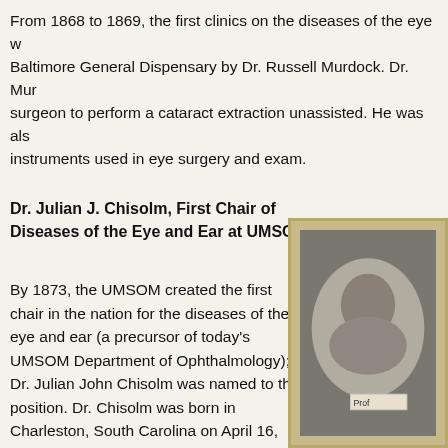From 1868 to 1869, the first clinics on the diseases of the eye were held at the Baltimore General Dispensary by Dr. Russell Murdock. Dr. Murdock was the first surgeon to perform a cataract extraction unassisted. He was also known for the instruments used in eye surgery and exam.
Dr. Julian J. Chisolm, First Chair of Diseases of the Eye and Ear at UMSOM
By 1873, the UMSOM created the first chair in the nation for the diseases of the eye and ear (a precursor of today's UMSOM Department of Ophthalmology); Dr. Julian John Chisolm was named to the position. Dr. Chisolm was born in Charleston, South Carolina on April 16, 1830. He attended and graduated from the Medical College of the State of South Carolina in 1850 and continued on to Europe to further his medical studies in London and Paris. He returned to South Carolina and founded a preparatory medical school in Charleston with Dr.
[Figure (photo): Framed portrait photograph of Dr. Julian J. Chisolm in an oval mount within a decorative frame, with a small label reading 'Prof' visible at the bottom.]